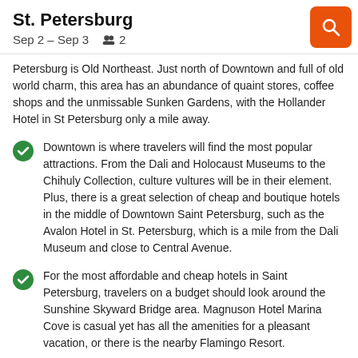St. Petersburg
Sep 2 – Sep 3   2
Petersburg is Old Northeast. Just north of Downtown and full of old world charm, this area has an abundance of quaint stores, coffee shops and the unmissable Sunken Gardens, with the Hollander Hotel in St Petersburg only a mile away.
Downtown is where travelers will find the most popular attractions. From the Dali and Holocaust Museums to the Chihuly Collection, culture vultures will be in their element. Plus, there is a great selection of cheap and boutique hotels in the middle of Downtown Saint Petersburg, such as the Avalon Hotel in St. Petersburg, which is a mile from the Dali Museum and close to Central Avenue.
For the most affordable and cheap hotels in Saint Petersburg, travelers on a budget should look around the Sunshine Skyward Bridge area. Magnuson Hotel Marina Cove is casual yet has all the amenities for a pleasant vacation, or there is the nearby Flamingo Resort.
Beachfront hotels in Saint Petersburg are easy to come by. On the shores of Saint Petersburg Beach, with water on both sides…